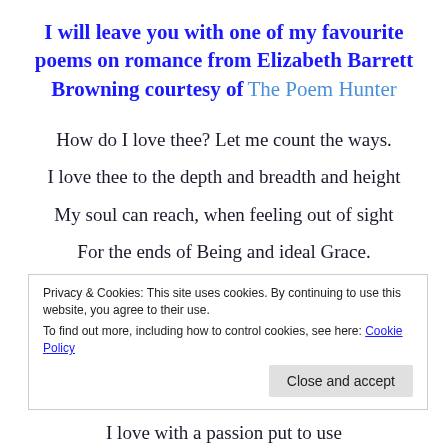I will leave you with one of my favourite poems on romance from Elizabeth Barrett Browning courtesy of The Poem Hunter
How do I love thee? Let me count the ways.
I love thee to the depth and breadth and height
My soul can reach, when feeling out of sight
For the ends of Being and ideal Grace.
I love thee to the level of every day's
Privacy & Cookies: This site uses cookies. By continuing to use this website, you agree to their use.
To find out more, including how to control cookies, see here: Cookie Policy
Close and accept
I love with a passion put to use